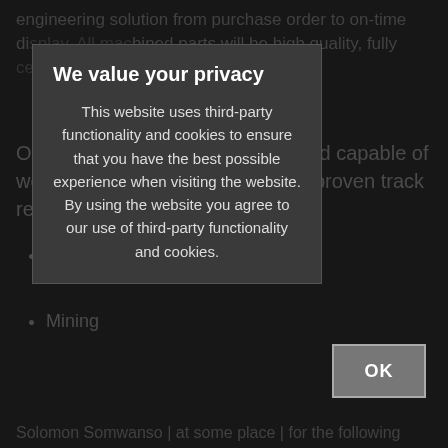engineering solution from purchase order to on-time delivery. All machined parts will be high quality, fully certified and inspected.
Our engineers are experienced and capable of working to close deadlines with a proven track record in parts for:
Agricultural
Mining
We value your privacy
This website uses third-party functionality and cookies to ensure that you have the best possible experience when visiting the website. By using the website you agree to our use of third-party functionality and cookies.
OK